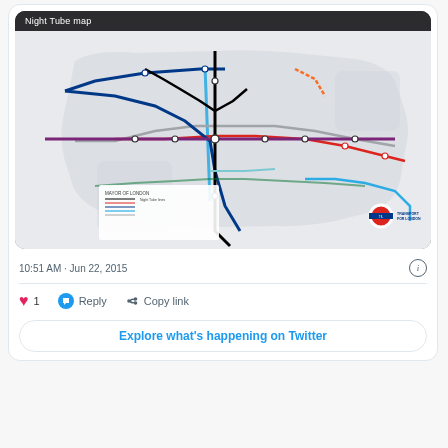[Figure (screenshot): Twitter/X post screenshot showing a Night Tube map image shared by Transport for London. The map shows London Underground night service lines in blue, red, dark blue, and light blue on a grey background. The map header reads 'Night Tube map'. Bottom of the card shows MAYOR OF LONDON and TRANSPORT FOR LONDON logos.]
10:51 AM · Jun 22, 2015
1   Reply   Copy link
Explore what's happening on Twitter